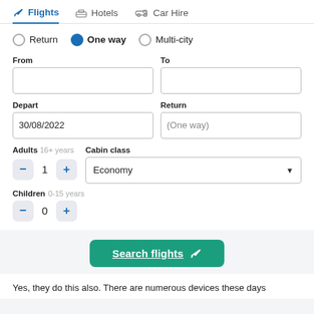Flights | Hotels | Car Hire
Return  One way  Multi-city
From
To
Depart: 30/08/2022
Return: (One way)
Adults 16+ years: 1
Cabin class: Economy
Children 0-15 years: 0
Search flights
Yes, they do this also. There are numerous devices these days that...